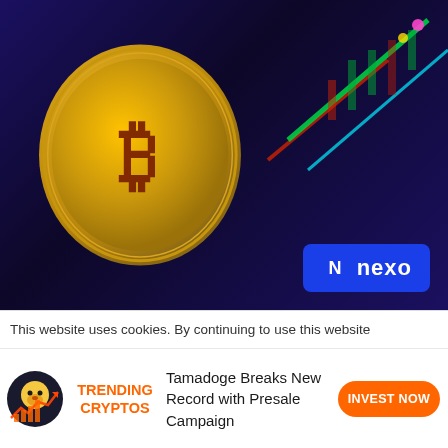[Figure (photo): A golden Bitcoin coin with the ₿ symbol stands upright in front of a dark blue background with blurred colorful candlestick chart lines. A Nexo advertisement badge appears in the bottom-right corner of the image.]
This website uses cookies. By continuing to use this website
[Figure (illustration): Tamadoge mascot dog with upward trending chart icon]
TRENDING CRYPTOS
Tamadoge Breaks New Record with Presale Campaign
INVEST NOW